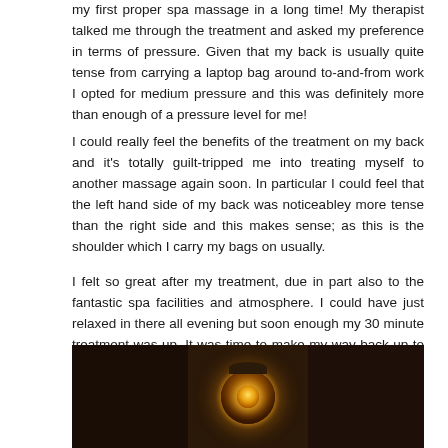my first proper spa massage in a long time! My therapist talked me through the treatment and asked my preference in terms of pressure. Given that my back is usually quite tense from carrying a laptop bag around to-and-from work I opted for medium pressure and this was definitely more than enough of a pressure level for me!
I could really feel the benefits of the treatment on my back and it's totally guilt-tripped me into treating myself to another massage again soon. In particular I could feel that the left hand side of my back was noticeabley more tense than the right side and this makes sense; as this is the shoulder which I carry my bags on usually.
I felt so great after my treatment, due in part also to the fantastic spa facilities and atmosphere. I could have just relaxed in there all evening but soon enough my 30 minute treatment was up. It was time to make my way back up to the terrace and indulge in one delicious special May Fair sangria before I headed home.
[Figure (photo): A dark, moody photo strip showing three panels: left panel is very dark, center panel shows a decorative ceiling lamp/light fixture with a warm golden glow against a dark background, right panel is dark with subtle warm tones.]